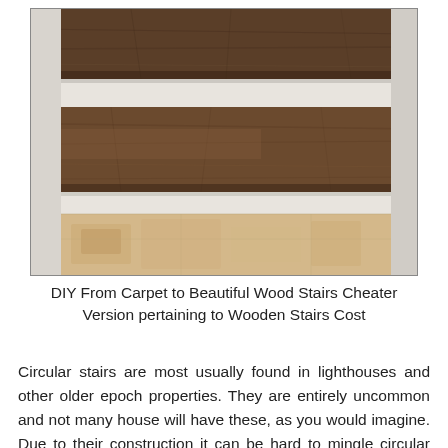[Figure (photo): Close-up photograph of wooden stair treads with white risers, showing dark brown wood-grain steps descending, with beige/tan tile visible at the bottom.]
DIY From Carpet to Beautiful Wood Stairs Cheater Version pertaining to Wooden Stairs Cost
Circular stairs are most usually found in lighthouses and other older epoch properties. They are entirely uncommon and not many house will have these, as you would imagine. Due to their construction it can be hard to mingle circular stairs into a home and most people